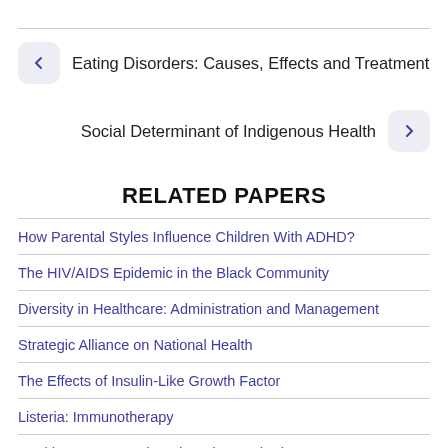← Eating Disorders: Causes, Effects and Treatment
Social Determinant of Indigenous Health →
RELATED PAPERS
How Parental Styles Influence Children With ADHD?
The HIV/AIDS Epidemic in the Black Community
Diversity in Healthcare: Administration and Management
Strategic Alliance on National Health
The Effects of Insulin-Like Growth Factor
Listeria: Immunotherapy
Healthcare Research and Design Methods
Alzheimer's Disease: Diagnosis and Treatment